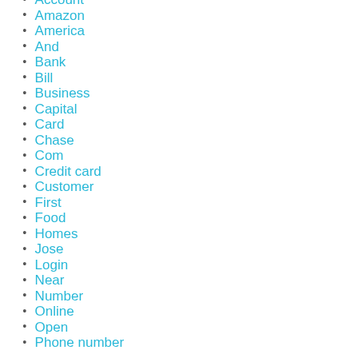Account
Amazon
America
And
Bank
Bill
Business
Capital
Card
Chase
Com
Credit card
Customer
First
Food
Homes
Jose
Login
Near
Number
Online
Open
Phone number